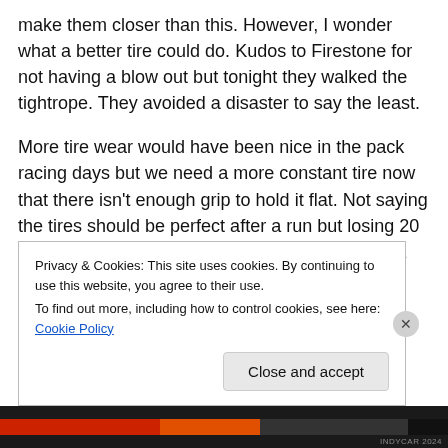make them closer than this. However, I wonder what a better tire could do. Kudos to Firestone for not having a blow out but tonight they walked the tightrope. They avoided a disaster to say the least.
More tire wear would have been nice in the pack racing days but we need a more constant tire now that there isn't enough grip to hold it flat. Not saying the tires should be perfect after a run but losing 20 mile per hour in corner apex over the course of a run is a bit much.
Pagenaud looks to be losing his tire...
Privacy & Cookies: This site uses cookies. By continuing to use this website, you agree to their use.
To find out more, including how to control cookies, see here: Cookie Policy